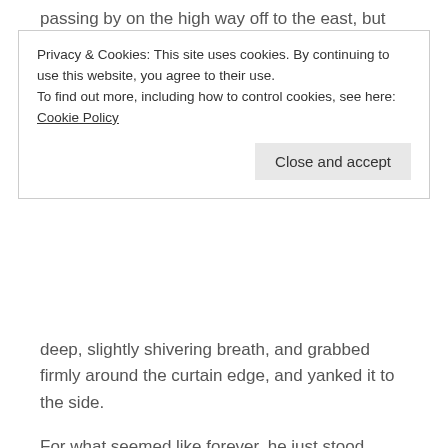passing by on the high way off to the east, but nothing
Privacy & Cookies: This site uses cookies. By continuing to use this website, you agree to their use.
To find out more, including how to control cookies, see here: Cookie Policy
deep, slightly shivering breath, and grabbed firmly around the curtain edge, and yanked it to the side.
For what seemed like forever, he just stood there, eyes fixed on what has beyond the glass in the garden door.
It looked back at Ben. She looked back.
Ben’s brain had suffered a shock. Like had he been struck with a sledgehammer dead between the eyes.
Tap-tap-tap.